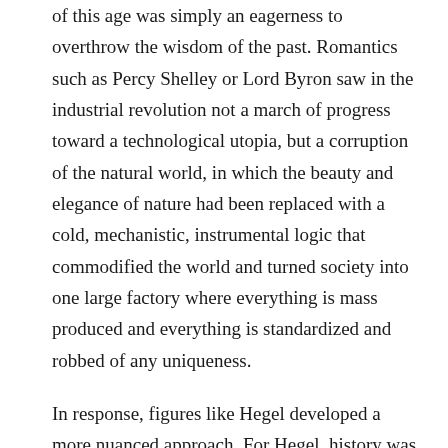of this age was simply an eagerness to overthrow the wisdom of the past. Romantics such as Percy Shelley or Lord Byron saw in the industrial revolution not a march of progress toward a technological utopia, but a corruption of the natural world, in which the beauty and elegance of nature had been replaced with a cold, mechanistic, instrumental logic that commodified the world and turned society into one large factory where everything is mass produced and everything is standardized and robbed of any uniqueness.
In response, figures like Hegel developed a more nuanced approach. For Hegel, history was not so much constantly getting better, but rather unfolding dialectically, with the ideas of one era negated by